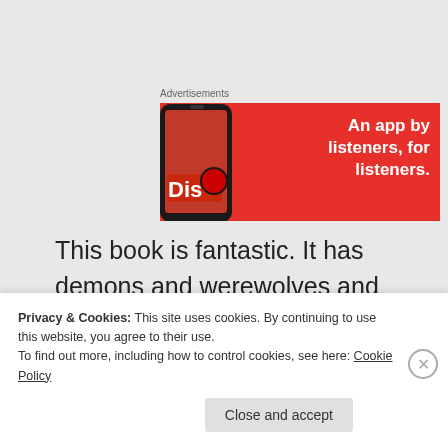Advertisements
[Figure (illustration): Red advertisement banner for an app with the text 'An app by listeners, for listeners.' alongside a smartphone image showing the Discogs app]
This book is fantastic. It has demons and werewolves and chess. Chess. Chess is scary in here. It’s awesome.
Privacy & Cookies: This site uses cookies. By continuing to use this website, you agree to their use.
To find out more, including how to control cookies, see here: Cookie Policy
Close and accept